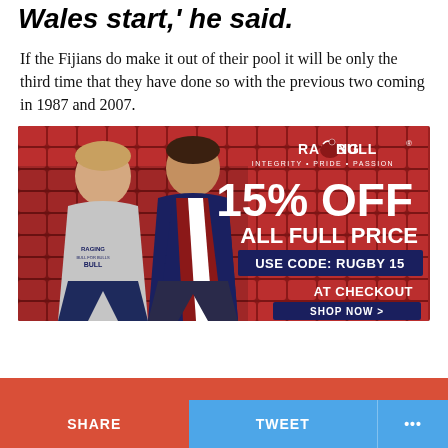Wales start,' he said.
If the Fijians do make it out of their pool it will be only the third time that they have done so with the previous two coming in 1987 and 2007.
[Figure (photo): Raging Bull advertisement showing two rugby players in stadium seats. Text reads: RAGING BULL, INTEGRITY • PRIDE • PASSION, 15% OFF ALL FULL PRICE, USE CODE: RUGBY 15, AT CHECKOUT, SHOP NOW >]
SHARE   TWEET   ...